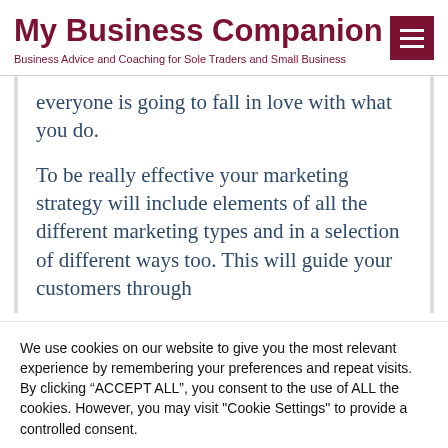My Business Companion
Business Advice and Coaching for Sole Traders and Small Business
everyone is going to fall in love with what you do.
To be really effective your marketing strategy will include elements of all the different marketing types and in a selection of different ways too. This will guide your customers through
We use cookies on our website to give you the most relevant experience by remembering your preferences and repeat visits. By clicking “ACCEPT ALL”, you consent to the use of ALL the cookies. However, you may visit "Cookie Settings" to provide a controlled consent.
Cookie Settings | REJECT ALL | ACCEPT ALL